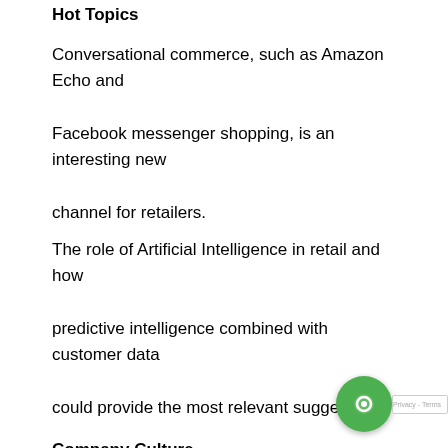Hot Topics
Conversational commerce, such as Amazon Echo and Facebook messenger shopping, is an interesting new channel for retailers.
The role of Artificial Intelligence in retail and how predictive intelligence combined with customer data could provide the most relevant suggestions.
Company Culture
Investing in your company culture is important.
Maintaining culture while scaling can be challenging.
Technology's future role in retail is summed up by this statement by Google's Vice President of Product Management – Shopping, Jonathan Alferness, "We no longer go online, we live online." Companies are working